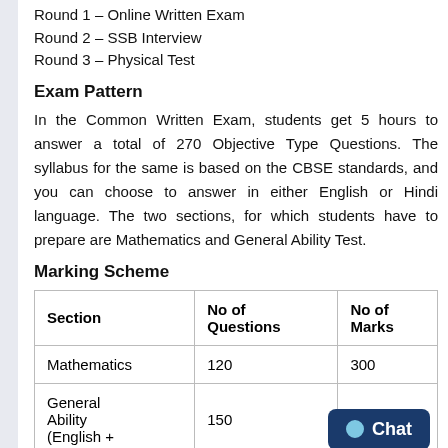Round 1 – Online Written Exam
Round 2 – SSB Interview
Round 3 – Physical Test
Exam Pattern
In the Common Written Exam, students get 5 hours to answer a total of 270 Objective Type Questions. The syllabus for the same is based on the CBSE standards, and you can choose to answer in either English or Hindi language. The two sections, for which students have to prepare are Mathematics and General Ability Test.
Marking Scheme
| Section | No of Questions | No of Marks |
| --- | --- | --- |
| Mathematics | 120 | 300 |
| General Ability (English + | 150 | 600 |